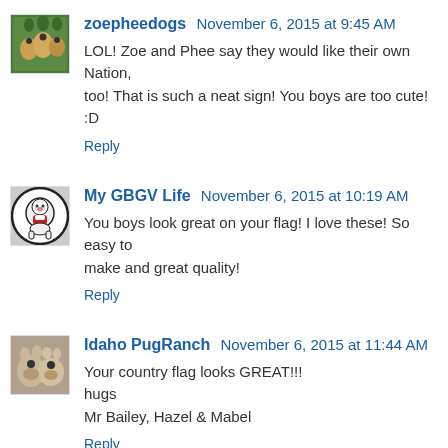[Figure (photo): Avatar photo of dogs for zoepheedogs user]
zoepheedogs November 6, 2015 at 9:45 AM
LOL! Zoe and Phee say they would like their own Nation, too! That is such a neat sign! You boys are too cute! :D
Reply
[Figure (logo): Avatar logo for My GBGV Life - circular with cartoon character]
My GBGV Life November 6, 2015 at 10:19 AM
You boys look great on your flag! I love these! So easy to make and great quality!
Reply
[Figure (photo): Avatar photo of pugs for Idaho PugRanch user]
Idaho PugRanch November 6, 2015 at 11:44 AM
Your country flag looks GREAT!!!
hugs
Mr Bailey, Hazel & Mabel
Reply